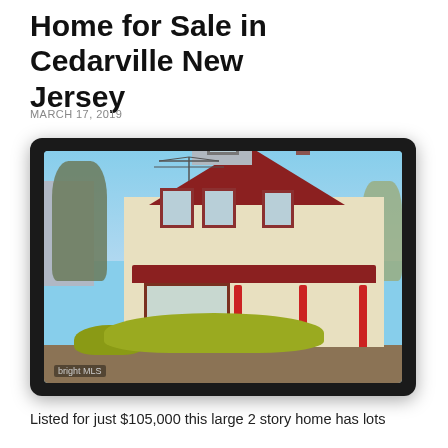Home for Sale in Cedarville New Jersey
MARCH 17, 2019
[Figure (photo): Exterior photograph of a large 2-story Victorian-style home with red roof, cream/yellow siding with red window shutters, enclosed front porch, dormer gable, and brick chimney. Green shrubs in front yard, trees behind. Navigation arrows visible. Bright MLS watermark in bottom left corner of photo.]
Listed for just $105,000 this large 2 story home has lots